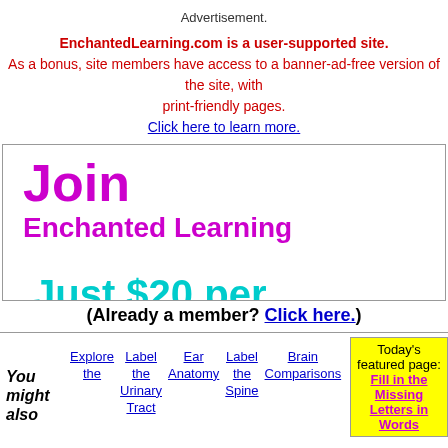Advertisement.
EnchantedLearning.com is a user-supported site. As a bonus, site members have access to a banner-ad-free version of the site, with print-friendly pages. Click here to learn more.
[Figure (infographic): Join Enchanted Learning promotional banner with 'Just $20 per year' and 'Get access to over ... educational web...' text]
(Already a member? Click here.)
Today's featured page: Fill in the Missing Letters in Words
You might also
Explore the
Label the Urinary Tract
Ear Anatomy
Label the Spine
Brain Comparisons